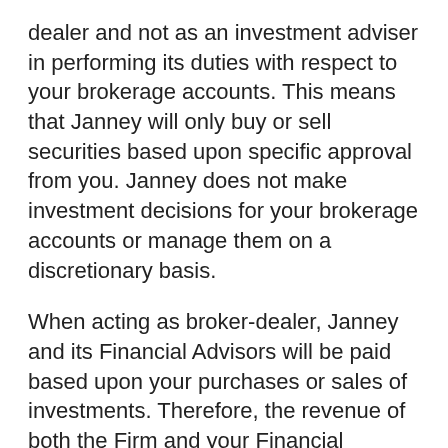dealer and not as an investment adviser in performing its duties with respect to your brokerage accounts. This means that Janney will only buy or sell securities based upon specific approval from you. Janney does not make investment decisions for your brokerage accounts or manage them on a discretionary basis.
When acting as broker-dealer, Janney and its Financial Advisors will be paid based upon your purchases or sales of investments. Therefore, the revenue of both the Firm and your Financial Advisor will vary by investment and over time. As a result, Janney and its Financial Advisors have a financial incentive to recommend certain investments based upon the payment received.
When Janney acts as broker-dealer, Janney